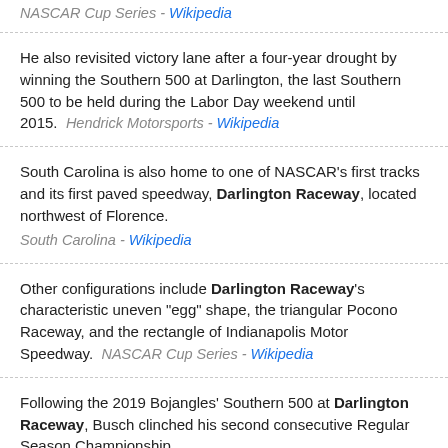NASCAR Cup Series - Wikipedia
He also revisited victory lane after a four-year drought by winning the Southern 500 at Darlington, the last Southern 500 to be held during the Labor Day weekend until 2015. Hendrick Motorsports - Wikipedia
South Carolina is also home to one of NASCAR's first tracks and its first paved speedway, Darlington Raceway, located northwest of Florence. South Carolina - Wikipedia
Other configurations include Darlington Raceway's characteristic uneven "egg" shape, the triangular Pocono Raceway, and the rectangle of Indianapolis Motor Speedway. NASCAR Cup Series - Wikipedia
Following the 2019 Bojangles' Southern 500 at Darlington Raceway, Busch clinched his second consecutive Regular Season Championship. Joe Gibbs Racing - Wikipedia